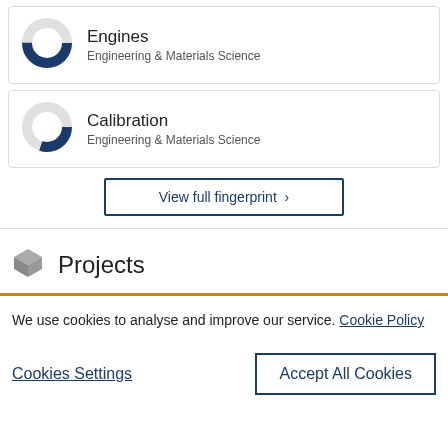[Figure (donut-chart): Donut chart showing Engines topic coverage in Engineering & Materials Science]
Engines
Engineering & Materials Science
[Figure (donut-chart): Donut chart showing Calibration topic coverage in Engineering & Materials Science]
Calibration
Engineering & Materials Science
View full fingerprint >
Projects
We use cookies to analyse and improve our service. Cookie Policy
Cookies Settings
Accept All Cookies